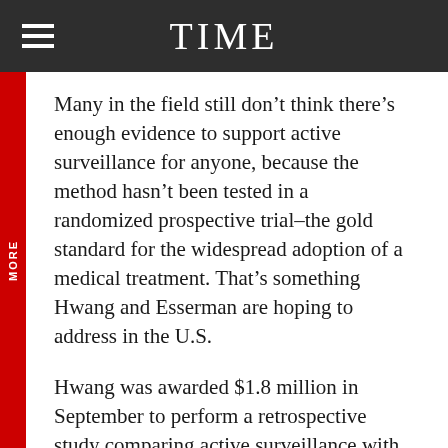TIME
Many in the field still don’t think there’s enough evidence to support active surveillance for anyone, because the method hasn’t been tested in a randomized prospective trial–the gold standard for the widespread adoption of a medical treatment. That’s something Hwang and Esserman are hoping to address in the U.S.
Hwang was awarded $1.8 million in September to perform a retrospective study comparing active surveillance with standard care, and she’s hoping she’ll soon have the green light to do a prospective study looking at the same thing.
Esserman is creating a DCIS registry at the five